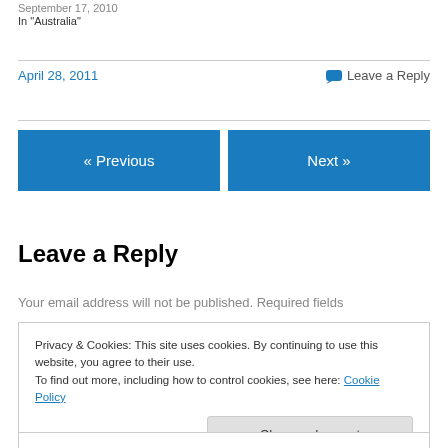September 17, 2010
In "Australia"
April 28, 2011
Leave a Reply
« Previous
Next »
Leave a Reply
Your email address will not be published. Required fields
Privacy & Cookies: This site uses cookies. By continuing to use this website, you agree to their use. To find out more, including how to control cookies, see here: Cookie Policy
Close and accept